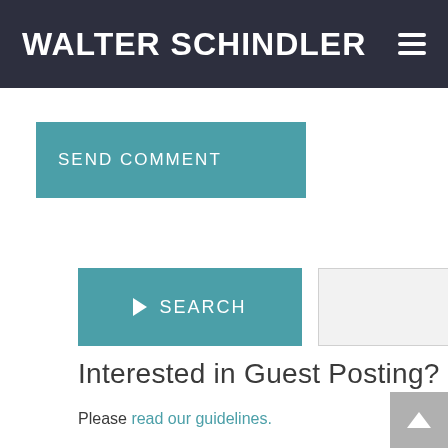WALTER SCHINDLER
SEND COMMENT
▶ SEARCH
Interested in Guest Posting?
Please read our guidelines.